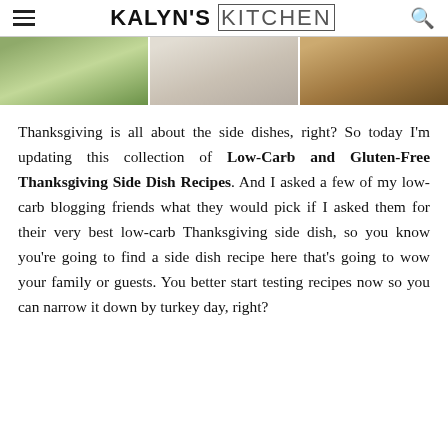KALYN'S KITCHEN
[Figure (photo): Three food photos side by side: a plate with greens and garnish, a white bowl with grain dish, and a dark dish on wooden surface]
Thanksgiving is all about the side dishes, right? So today I'm updating this collection of Low-Carb and Gluten-Free Thanksgiving Side Dish Recipes. And I asked a few of my low-carb blogging friends what they would pick if I asked them for their very best low-carb Thanksgiving side dish, so you know you're going to find a side dish recipe here that's going to wow your family or guests. You better start testing recipes now so you can narrow it down by turkey day, right?